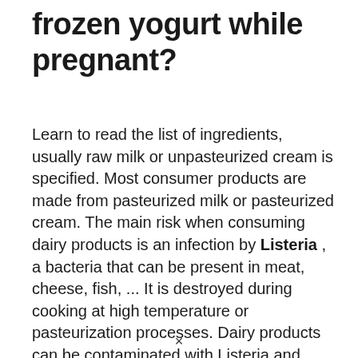frozen yogurt while pregnant?
Learn to read the list of ingredients, usually raw milk or unpasteurized cream is specified. Most consumer products are made from pasteurized milk or pasteurized cream. The main risk when consuming dairy products is an infection by Listeria , a bacteria that can be present in meat, cheese, fish, ... It is destroyed during cooking at high temperature or pasteurization processes. Dairy products can be contaminated with Listeria and transmitted to the fetus by the mother. The risks to the